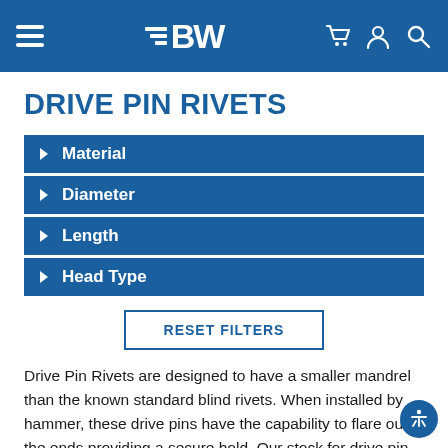BW — site navigation header with hamburger menu, BW logo, cart, account, and search icons
DRIVE PIN RIVETS
Material
Diameter
Length
Head Type
RESET FILTERS
Drive Pin Rivets are designed to have a smaller mandrel than the known standard blind rivets. When installed by hammer, these drive pins have the capability to flare out the ends providing a secure hold. Our stock for drive pin rivets includes a vast selection of sizes, types and materials for